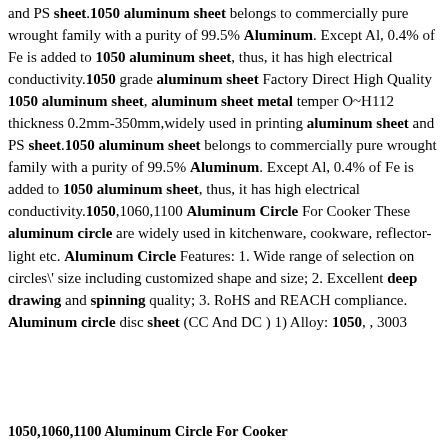and PS sheet.1050 aluminum sheet belongs to commercially pure wrought family with a purity of 99.5% Aluminum. Except Al, 0.4% of Fe is added to 1050 aluminum sheet, thus, it has high electrical conductivity.1050 grade aluminum sheet Factory Direct High Quality 1050 aluminum sheet, aluminum sheet metal temper O~H112 thickness 0.2mm-350mm,widely used in printing aluminum sheet and PS sheet.1050 aluminum sheet belongs to commercially pure wrought family with a purity of 99.5% Aluminum. Except Al, 0.4% of Fe is added to 1050 aluminum sheet, thus, it has high electrical conductivity.1050,1060,1100 Aluminum Circle For Cooker These aluminum circle are widely used in kitchenware, cookware, reflector-light etc. Aluminum Circle Features: 1. Wide range of selection on circles\' size including customized shape and size; 2. Excellent deep drawing and spinning quality; 3. RoHS and REACH compliance. Aluminum circle disc sheet (CC And DC ) 1) Alloy: 1050, , 3003
1050,1060,1100 Aluminum Circle For Cooker